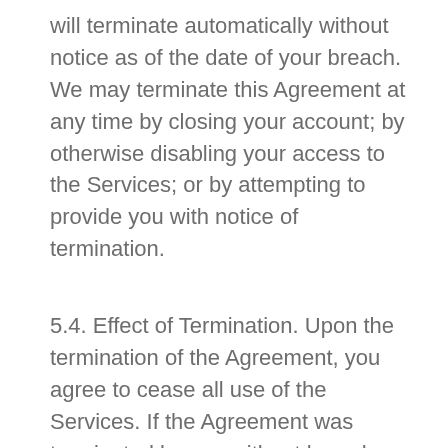will terminate automatically without notice as of the date of your breach. We may terminate this Agreement at any time by closing your account; by otherwise disabling your access to the Services; or by attempting to provide you with notice of termination.
5.4. Effect of Termination. Upon the termination of the Agreement, you agree to cease all use of the Services. If the Agreement was terminated by you without breach, then you